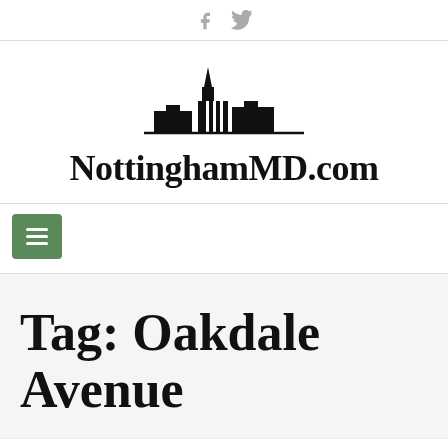Facebook Twitter social icons
[Figure (logo): NottinghamMD.com logo with city skyline silhouette above the text]
Tag: Oakdale Avenue
This website uses cookies to improve your experience. We'll assume you're ok with this, but you can opt-out if you wish.
Accept  Reject  Read More